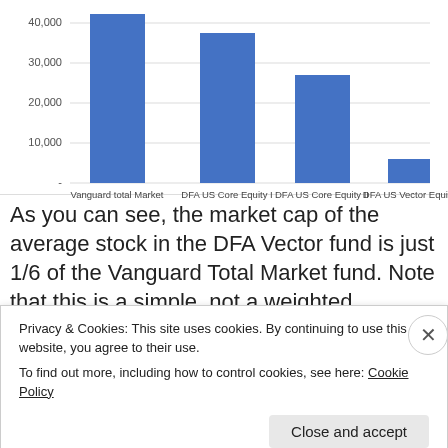[Figure (bar-chart): Average Market Cap by Fund]
As you can see, the market cap of the average stock in the DFA Vector fund is just 1/6 of the Vanguard Total Market fund. Note that this is a simple, not a weighted average.
Let's now look at how these funds have
Privacy & Cookies: This site uses cookies. By continuing to use this website, you agree to their use.
To find out more, including how to control cookies, see here: Cookie Policy